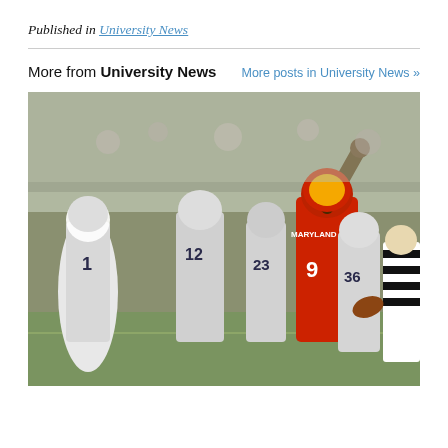Published in University News
More from University News   More posts in University News »
[Figure (photo): A Maryland Terrapins football player wearing red jersey number 9 raises his arm in celebration on the field, surrounded by Penn State players in white uniforms and a referee in a striped shirt. Crowd visible in the background.]